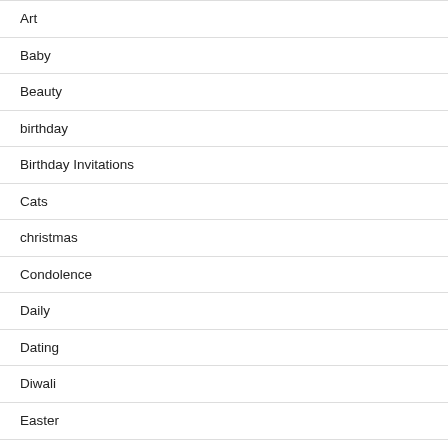Art
Baby
Beauty
birthday
Birthday Invitations
Cats
christmas
Condolence
Daily
Dating
Diwali
Easter
Fashion